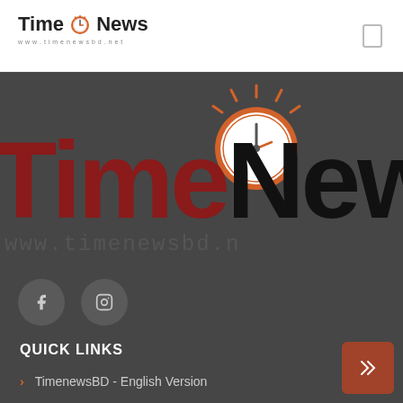[Figure (logo): Time News logo with clock icon, text 'Time News' and 'www.timenewsbd.net' subtitle in top nav bar]
[Figure (logo): Large Time News branding in dark background section with big red 'Time' and black 'New' text, clock illustration, and URL www.timenewsbd.n...]
[Figure (illustration): Two circular social media icon buttons (Facebook and another icon) on dark background]
QUICK LINKS
TimenewsBD - English Version
News
About Us